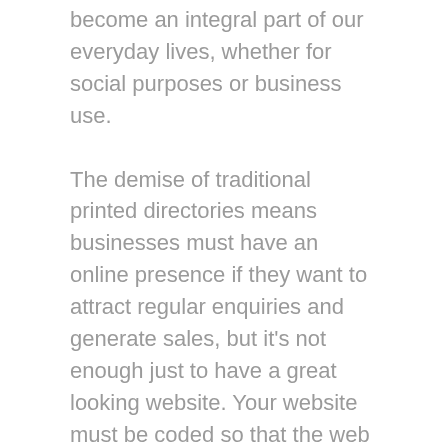become an integral part of our everyday lives, whether for social purposes or business use.
The demise of traditional printed directories means businesses must have an online presence if they want to attract regular enquiries and generate sales, but it's not enough just to have a great looking website. Your website must be coded so that the web crawlers can find your business when someone types in a relevant search time. Search Engine Optimisation is the term used for gaining rankings with all the major search engines such as Google, if your site hasn't been 'optimised' your chances of showing up on the first page of a search result are very low. Choosing a Web Design company that will give you ongoing